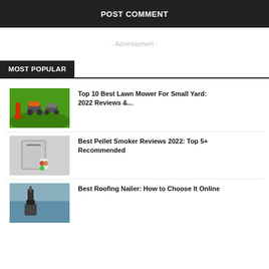POST COMMENT
- Advertisement -
MOST POPULAR
Top 10 Best Lawn Mower For Small Yard: 2022 Reviews &...
Best Pellet Smoker Reviews 2022: Top 5+ Recommended
Best Roofing Nailer: How to Choose It Online